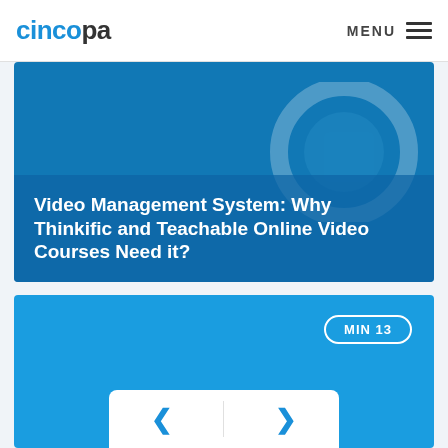cincopa   MENU
[Figure (screenshot): Blue article card with title overlay: 'Video Management System: Why Thinkific and Teachable Online Video Courses Need it?' on a dark blue background with a faint decorative background figure.]
[Figure (screenshot): Blue card with 'MIN 13' badge in top right corner and navigation arrows (left and right chevrons) at the bottom in a white rounded rectangle.]